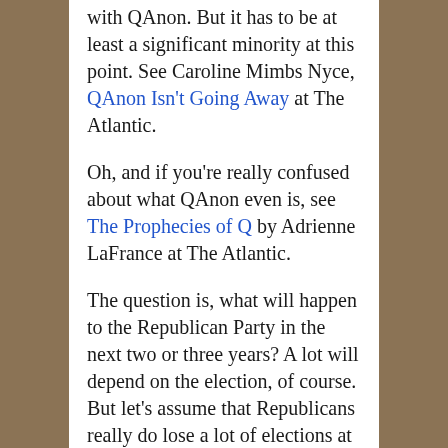with QAnon. But it has to be at least a significant minority at this point. See Caroline Mimbs Nyce, QAnon Isn't Going Away at The Atlantic.
Oh, and if you're really confused about what QAnon even is, see The Prophecies of Q by Adrienne LaFrance at The Atlantic.
The question is, what will happen to the Republican Party in the next two or three years? A lot will depend on the election, of course. But let's assume that Republicans really do lose a lot of elections at both the state and national level. At some point the party's going to have to choose between continuing to stoke wackjobbery or trying to be an actual political party again instead of a cult, whether